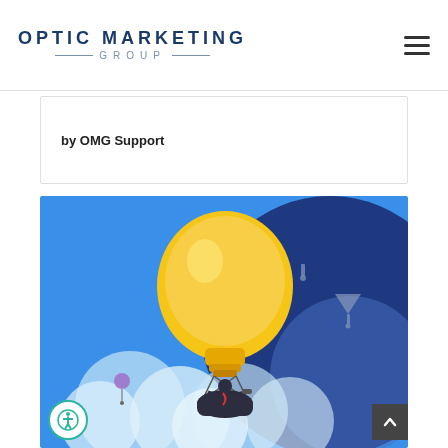OPTIC MARKETING GROUP
by OMG Support
[Figure (illustration): Colorful illustration of a person riding a hot-air balloon shaped like a glowing light bulb, floating above clouds against a blue background with dark navy circular shapes and small parachute figures in the distance.]